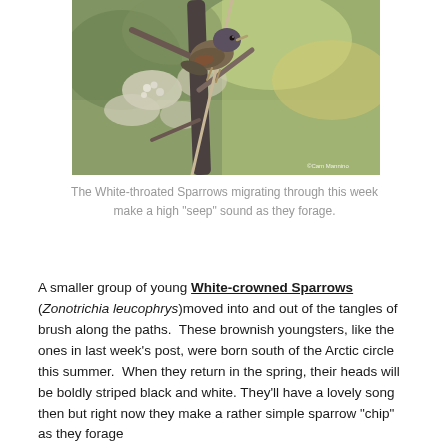[Figure (photo): A small sparrow perched on a branch amid flowering shrubs, with blurred autumn foliage in the background. Photo credit: ©Cam Mannino]
The White-throated Sparrows migrating through this week make a high “seep” sound as they forage.
A smaller group of young White-crowned Sparrows (Zonotrichia leucophrys) moved into and out of the tangles of brush along the paths.  These brownish youngsters, like the ones in last week’s post, were born south of the Arctic circle this summer.  When they return in the spring, their heads will be boldly striped black and white. They’ll have a lovely song then but right now they make a rather simple sparrow “chip” as they forage